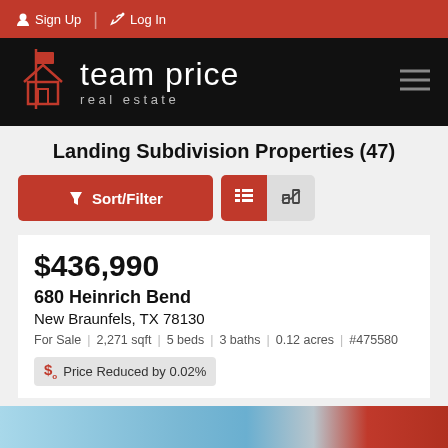Sign Up | Log In
[Figure (logo): Team Price Real Estate logo — house icon with text 'team price real estate' on black background]
Landing Subdivision Properties (47)
Sort/Filter (button) | List view | Map view
$436,990
680 Heinrich Bend
New Braunfels, TX 78130
For Sale | 2,271 sqft | 5 beds | 3 baths | 0.12 acres | #475580
Price Reduced by 0.02%
[Figure (photo): Partial property photo at bottom of page]